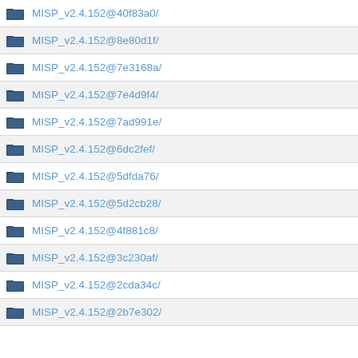MISP_v2.4.152@40f83a0/
MISP_v2.4.152@8e80d1f/
MISP_v2.4.152@7e3168a/
MISP_v2.4.152@7e4d9f4/
MISP_v2.4.152@7ad991e/
MISP_v2.4.152@6dc2fef/
MISP_v2.4.152@5dfda76/
MISP_v2.4.152@5d2cb28/
MISP_v2.4.152@4f881c8/
MISP_v2.4.152@3c230af/
MISP_v2.4.152@2cda34c/
MISP_v2.4.152@2b7e302/